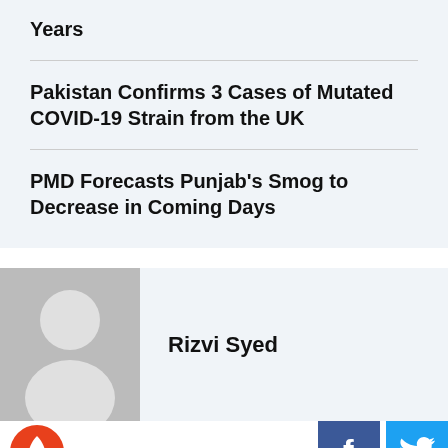Years
Pakistan Confirms 3 Cases of Mutated COVID-19 Strain from the UK
PMD Forecasts Punjab's Smog to Decrease in Coming Days
[Figure (photo): Default avatar placeholder image — grey silhouette of a person on grey background]
Rizvi Syed
[Figure (logo): Fire/flame icon on orange circular background — website logo]
[Figure (logo): Facebook logo icon on blue square background]
[Figure (logo): Twitter bird logo on cyan/light blue square background]